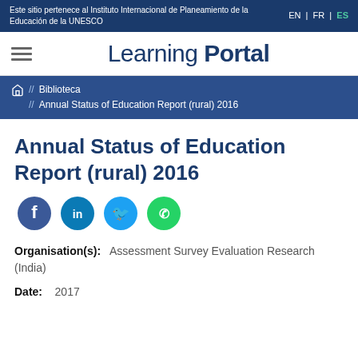Este sitio pertenece al Instituto Internacional de Planeamiento de la Educación de la UNESCO
EN | FR | ES
[Figure (logo): Learning Portal logo with hamburger menu icon]
// Biblioteca // Annual Status of Education Report (rural) 2016
Annual Status of Education Report (rural) 2016
[Figure (infographic): Social sharing icons: Facebook, LinkedIn, Twitter, WhatsApp]
Organisation(s): Assessment Survey Evaluation Research (India)
Date: 2017